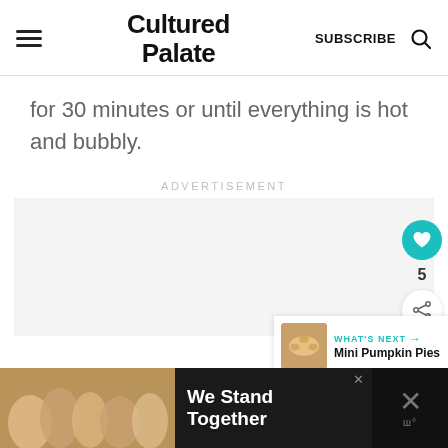Cultured Palate | SUBSCRIBE
for 30 minutes or until everything is hot and bubbly.
ADVERTISEMENT
[Figure (other): Advertisement placeholder area (gray background)]
[Figure (other): Heart/like button (teal circle with heart icon) showing count 5, and share button below]
[Figure (other): What's Next card showing Mini Pumpkin Pies with thumbnail image]
[Figure (other): Bottom advertisement banner: We Stand Together with group photo on dark background]